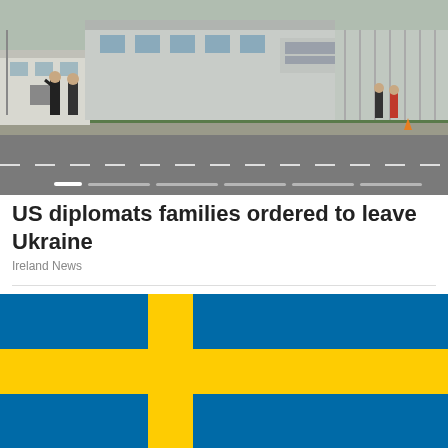[Figure (photo): Exterior of US Embassy building with security personnel standing at entrance, parking lot visible in foreground, trees and fence in background. Slideshow carousel with navigation dots at bottom.]
US diplomats families ordered to leave Ukraine
Ireland News
[Figure (illustration): Swedish flag - blue background with yellow Nordic cross]